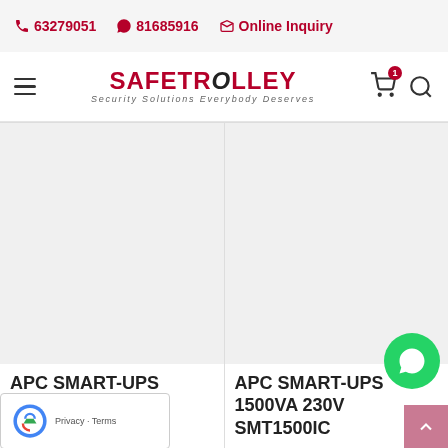63279051  81685916  Online Inquiry
[Figure (logo): SafeTrolley logo with tagline 'Security Solutions Everybody Deserves']
[Figure (photo): Product image area for APC SMART-UPS 1500VA 230V SMT1500I]
APC SMART-UPS 1500VA 230V SMT1500I
[Figure (photo): Product image area for APC SMART-UPS 1500VA 230V SMT1500IC]
APC SMART-UPS 1500VA 230V SMT1500IC